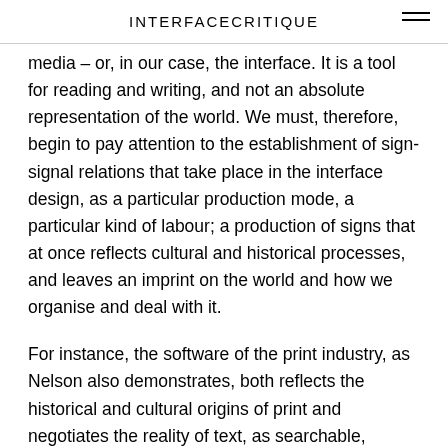INTERFACECRITIQUE
media – or, in our case, the interface. It is a tool for reading and writing, and not an absolute representation of the world. We must, therefore, begin to pay attention to the establishment of sign-signal relations that take place in the interface design, as a particular production mode, a particular kind of labour; a production of signs that at once reflects cultural and historical processes, and leaves an imprint on the world and how we organise and deal with it.
For instance, the software of the print industry, as Nelson also demonstrates, both reflects the historical and cultural origins of print and negotiates the reality of text, as searchable, sequential, iterative, sortable, and so forth. Our file formats and standards for storing and showing data also reflect such processes. Jonathan